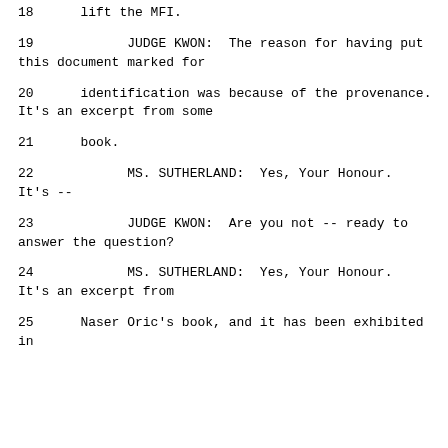18      lift the MFI.
19            JUDGE KWON:  The reason for having put this document marked for
20      identification was because of the provenance. It's an excerpt from some
21      book.
22            MS. SUTHERLAND:  Yes, Your Honour. It's --
23            JUDGE KWON:  Are you not -- ready to answer the question?
24            MS. SUTHERLAND:  Yes, Your Honour. It's an excerpt from
25      Naser Oric's book, and it has been exhibited in